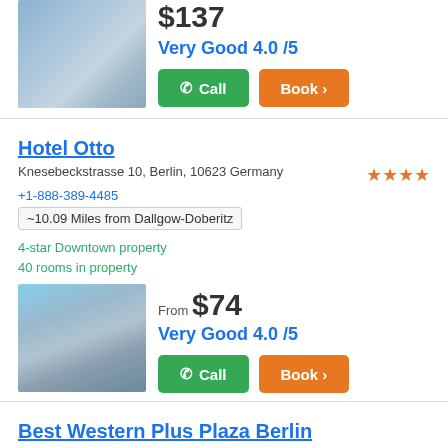[Figure (photo): Hotel entrance with potted trees]
$137
Very Good 4.0 /5
Call
Book >
Hotel Otto
Knesebeckstrasse 10, Berlin, 10623 Germany
+1-888-389-4485
~10.09 Miles from Dallgow-Doberitz
4-star Downtown property
40 rooms in property
[Figure (photo): Hotel Otto building exterior]
From $74
Very Good 4.0 /5
Call
Book >
Best Western Plus Plaza Berlin
Kurfürstendamm 203, Berlin, 10719 Germany